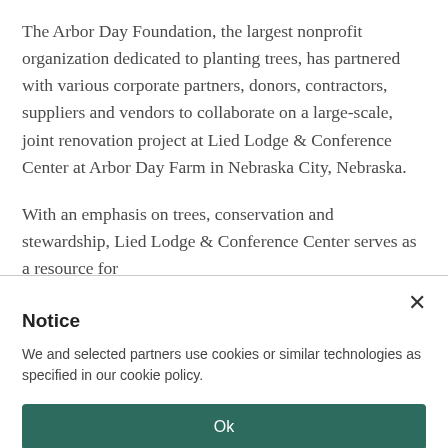The Arbor Day Foundation, the largest nonprofit organization dedicated to planting trees, has partnered with various corporate partners, donors, contractors, suppliers and vendors to collaborate on a large-scale, joint renovation project at Lied Lodge & Conference Center at Arbor Day Farm in Nebraska City, Nebraska.
With an emphasis on trees, conservation and stewardship, Lied Lodge & Conference Center serves as a resource for
Notice
We and selected partners use cookies or similar technologies as specified in our cookie policy.
Ok
Cookie Policy